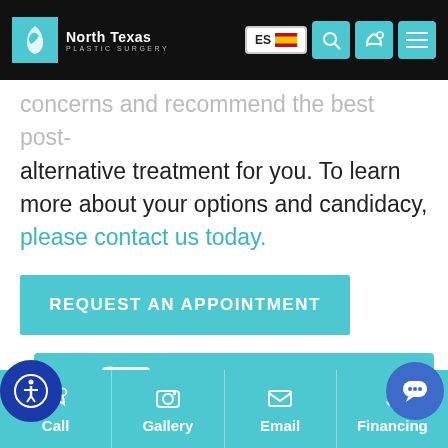[Figure (screenshot): North Texas Plastic Surgery website header with logo, ES language toggle, search, phone, and menu icons on dark background]
concerns and recommend the best post-alternative treatment for you. To learn more about your options and candidacy, please contact us today.
REQUEST AN APPOINTMENT
(866) 936-2309
TO SPEAK TO A MEMBER OF OUR TEAM TODAY
Call | Gallery | Email | Financing